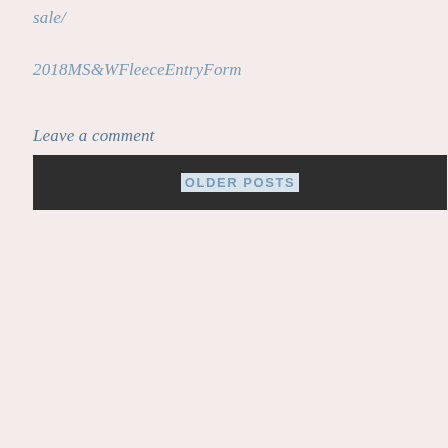sale/
2018MS&WFleeceEntryForm
Leave a comment
OLDER POSTS